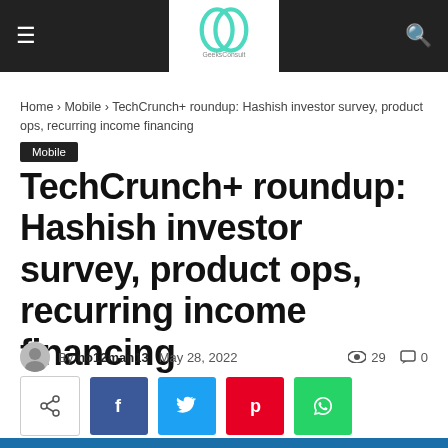GeeksConsult navigation bar with hamburger menu, logo, and search icon
Home › Mobile › TechCrunch+ roundup: Hashish investor survey, product ops, recurring income financing
Mobile
TechCrunch+ roundup: Hashish investor survey, product ops, recurring income financing
By no12man13  May 28, 2022  29  0
[Figure (other): Social sharing buttons: share icon, Facebook, Twitter, Pinterest, WhatsApp]